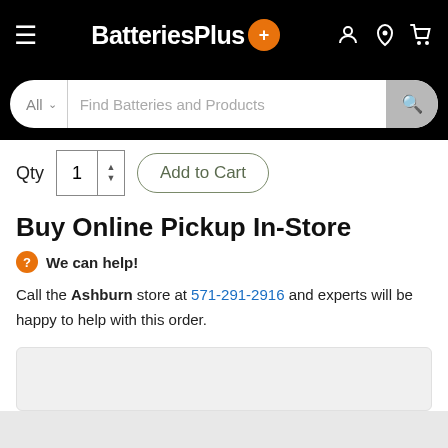BatteriesPlus
All  Find Batteries and Products
Qty 1  Add to Cart
Buy Online Pickup In-Store
We can help!
Call the Ashburn store at 571-291-2916 and experts will be happy to help with this order.
Product Details